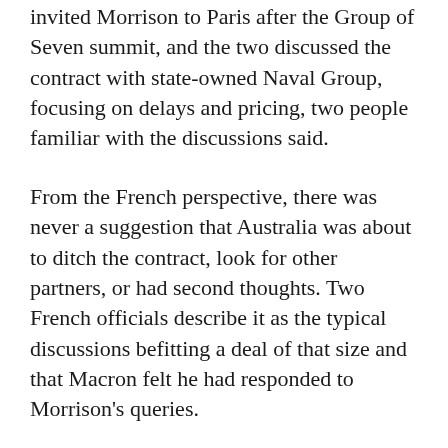invited Morrison to Paris after the Group of Seven summit, and the two discussed the contract with state-owned Naval Group, focusing on delays and pricing, two people familiar with the discussions said.
From the French perspective, there was never a suggestion that Australia was about to ditch the contract, look for other partners, or had second thoughts. Two French officials describe it as the typical discussions befitting a deal of that size and that Macron felt he had responded to Morrison's queries.
Macron and Biden have previously had a warm relationship.
The French president publicly rejoiced at the G-7 meeting in June that America was “back” and ready to